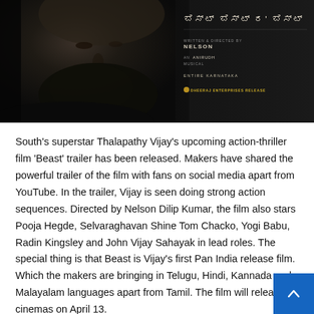[Figure (photo): Movie poster for Beast featuring a bearded man's face in dark dramatic lighting with Kannada script title text and production credits including 'Written & Directed by Nelson', 'An Anirudh Musical', 'Entire Karnataka', 'Dheeraj Enterprises Release']
South's superstar Thalapathy Vijay's upcoming action-thriller film 'Beast' trailer has been released. Makers have shared the powerful trailer of the film with fans on social media apart from YouTube. In the trailer, Vijay is seen doing strong action sequences. Directed by Nelson Dilip Kumar, the film also stars Pooja Hegde, Selvaraghavan Shine Tom Chacko, Yogi Babu, Radin Kingsley and John Vijay Sahayak in lead roles. The special thing is that Beast is Vijay's first Pan India release film. Which the makers are bringing in Telugu, Hindi, Kannada and Malayalam languages apart from Tamil. The film will release cinemas on April 13.